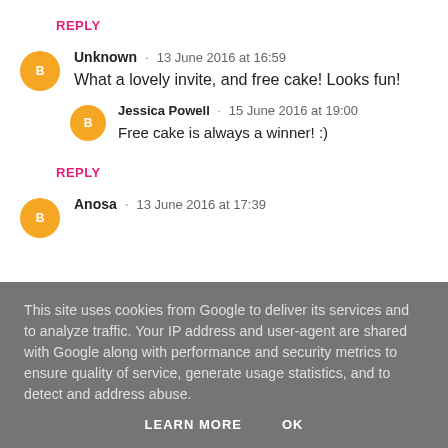REPLY
Unknown · 13 June 2016 at 16:59
What a lovely invite, and free cake! Looks fun!
Jessica Powell · 15 June 2016 at 19:00
Free cake is always a winner! :)
REPLY
Anosa · 13 June 2016 at 17:39
This site uses cookies from Google to deliver its services and to analyze traffic. Your IP address and user-agent are shared with Google along with performance and security metrics to ensure quality of service, generate usage statistics, and to detect and address abuse.
LEARN MORE    OK